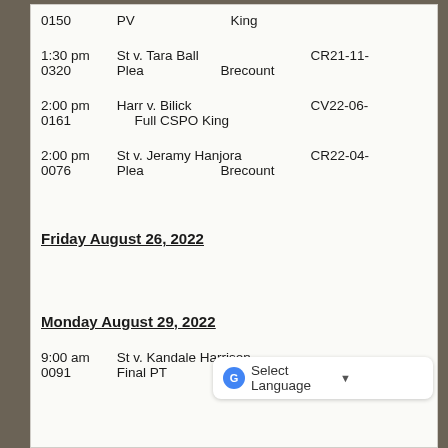0150    PV    King
1:30 pm    St v. Tara Ball    CR21-11-0320    Plea    Brecount
2:00 pm    Harr v. Bilick    CV22-06-0161    Full CSPO King
2:00 pm    St v. Jeramy Hanjora    CR22-04-0076    Plea    Brecount
Friday August 26, 2022
Monday August 29, 2022
9:00 am    St v. Kandale Harrison    CR22-??-0091    Final PT    Triplett